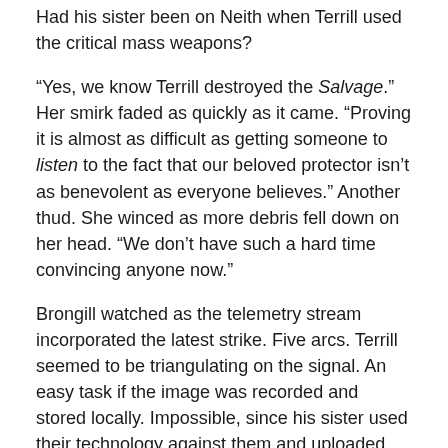Had his sister been on Neith when Terrill used the critical mass weapons?
“Yes, we know Terrill destroyed the Salvage.” Her smirk faded as quickly as it came. “Proving it is almost as difficult as getting someone to listen to the fact that our beloved protector isn’t as benevolent as everyone believes.” Another thud. She winced as more debris fell down on her head. “We don’t have such a hard time convincing anyone now.”
Brongill watched as the telemetry stream incorporated the latest strike. Five arcs. Terrill seemed to be triangulating on the signal. An easy task if the image was recorded and stored locally. Impossible, since his sister used their technology against them and uploaded the message directly into the angsnet.